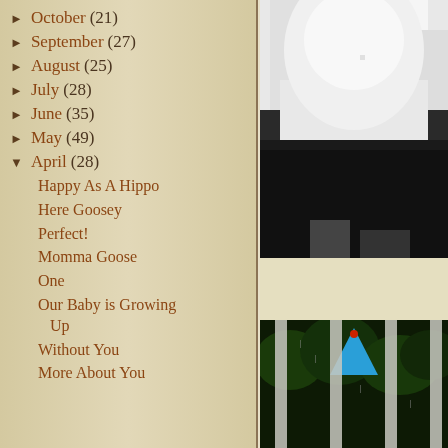► October (21)
► September (27)
► August (25)
► July (28)
► June (35)
► May (49)
▼ April (28)
Happy As A Hippo
Here Goosey
Perfect!
Momma Goose
One
Our Baby is Growing Up
Without You
More About You
[Figure (photo): Partial view of a person wearing white shirt and dark pants, cropped closely]
[Figure (photo): Outdoor scene with trees, fence posts/bars, and a blue triangular sign or shape visible]